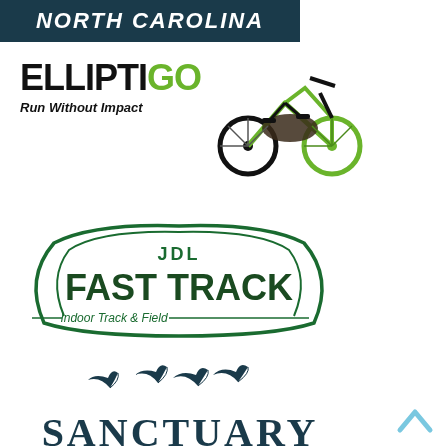[Figure (logo): North Carolina banner - dark teal/navy background with white italic bold text reading NORTH CAROLINA]
[Figure (logo): ElliptiGO logo - ELLIPTI in black, GO in green, tagline 'Run Without Impact' in italic bold, with image of green elliptical bike]
[Figure (logo): JDL Fast Track logo - green oval badge shape with JDL text above, FAST TRACK in large dark green bold font, Indoor Track & Field tagline]
[Figure (logo): Sanctuary logo - dark teal bird silhouettes above the word SANCTUARY in large serif font]